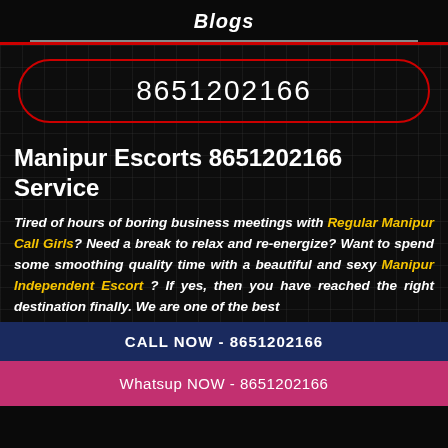Blogs
8651202166
Manipur Escorts 8651202166 Service
Tired of hours of boring business meetings with Regular Manipur Call Girls? Need a break to relax and re-energize? Want to spend some smoothing quality time with a beautiful and sexy Manipur Independent Escort ? If yes, then you have reached the right destination finally. We are one of the best
CALL NOW - 8651202166
Whatsup NOW - 8651202166